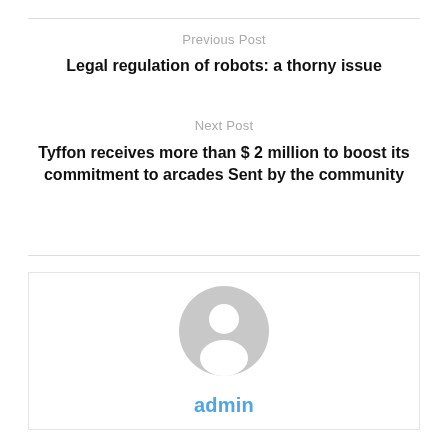Previous Post
Legal regulation of robots: a thorny issue
Next Post
Tyffon receives more than $ 2 million to boost its commitment to arcades Sent by the community
admin